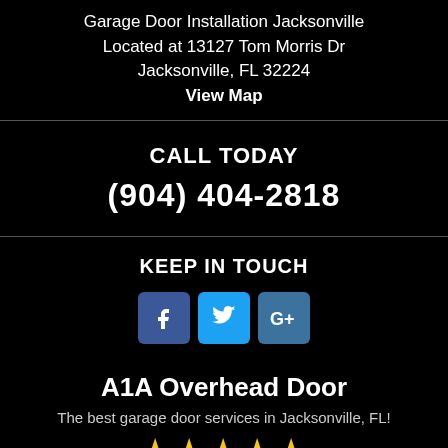Garage Door Installation Jacksonville
Located at 13127 Tom Morris Dr
Jacksonville, FL 32224
View Map
CALL TODAY
(904) 404-2818
KEEP IN TOUCH
[Figure (infographic): Three social media icon buttons: Facebook (f), Twitter (bird), Google+ (G+)]
A1A Overhead Door
The best garage door services in Jacksonville, FL!
[Figure (infographic): Five gold star rating icons]
4.9 out of 5 with 5464 ratings